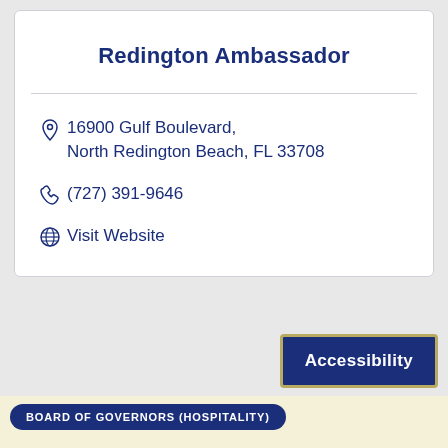Redington Ambassador
16900 Gulf Boulevard, North Redington Beach, FL 33708
(727) 391-9646
Visit Website
Accessibility
BOARD OF GOVERNORS (HOSPITALITY)